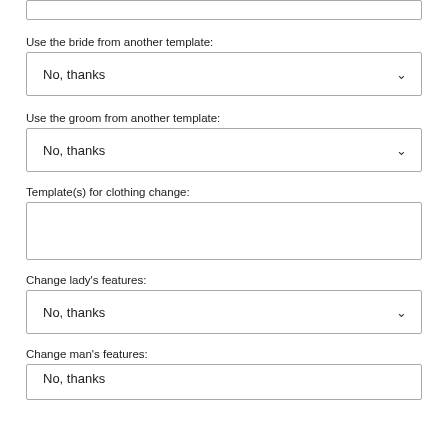Use the bride from another template:
No, thanks
Use the groom from another template:
No, thanks
Template(s) for clothing change:
Change lady's features:
No, thanks
Change man's features:
No, thanks